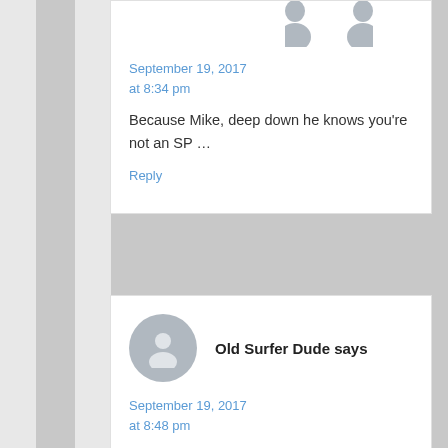[Figure (illustration): Partial avatar icon at top of page (gray silhouette, two-piece head+shoulders shape)]
September 19, 2017 at 8:34 pm
Because Mike, deep down he knows you’re not an SP …
Reply
[Figure (illustration): Gray circular avatar icon with person silhouette for Old Surfer Dude]
Old Surfer Dude says
September 19, 2017 at 8:48 pm